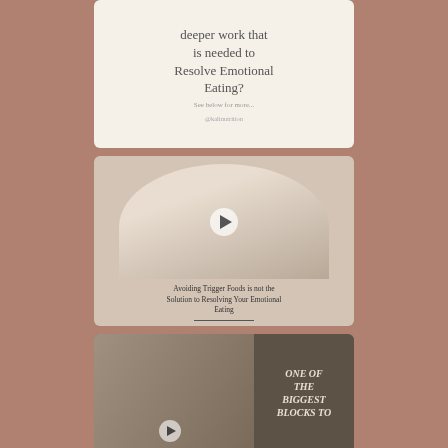[Figure (illustration): Cream/beige card with centered text asking 'deeper work that is needed to Resolve Emotional Eating?' with subtitle 'See below for more...' and handle @kalinutrition]
[Figure (photo): Video thumbnail of a woman with long dark hair smiling, wearing striped top, in arch-shaped frame. Caption: 'Avoiding Trigger Foods is not the Solution to Resolving Your Emotional Eating']
[Figure (photo): Video thumbnail of a woman smiling with overlay text 'ONE OF THE BIGGEST BLOCKS TO']